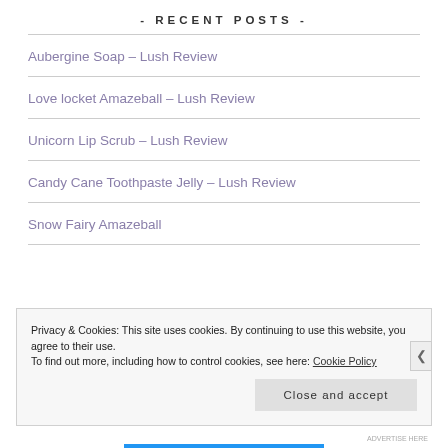- RECENT POSTS -
Aubergine Soap – Lush Review
Love locket Amazeball – Lush Review
Unicorn Lip Scrub – Lush Review
Candy Cane Toothpaste Jelly – Lush Review
Snow Fairy Amazeball
Privacy & Cookies: This site uses cookies. By continuing to use this website, you agree to their use.
To find out more, including how to control cookies, see here: Cookie Policy
Close and accept